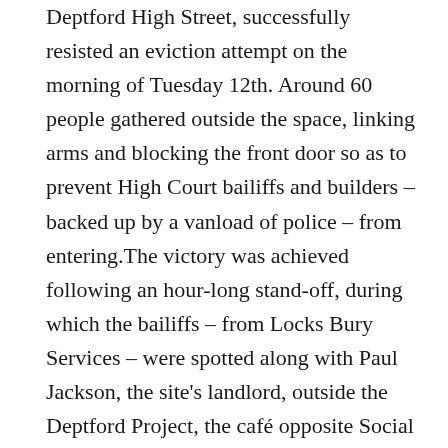Deptford High Street, successfully resisted an eviction attempt on the morning of Tuesday 12th. Around 60 people gathered outside the space, linking arms and blocking the front door so as to prevent High Court bailiffs and builders – backed up by a vanload of police – from entering.The victory was achieved following an hour-long stand-off, during which the bailiffs – from Locks Bury Services – were spotted along with Paul Jackson, the site's landlord, outside the Deptford Project, the café opposite Social Centre Plus, whose owner also wanted the space for a high society art exhibition. There they made a series of frantic phone calls in which they spelt out their reluctance to confront the occupiers inside the anti-cuts space, some of whom were positioned on the building's roof.Eventually the police informed the bailiffs that they had no intention of intervening, and